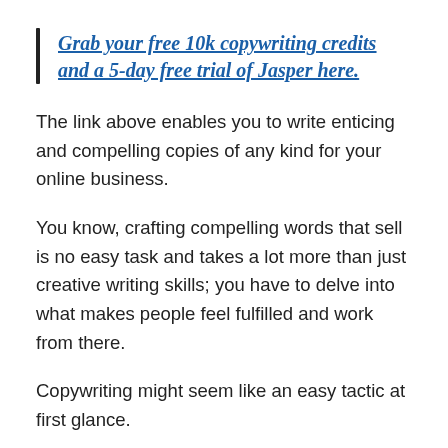Grab your free 10k copywriting credits and a 5-day free trial of Jasper here.
The link above enables you to write enticing and compelling copies of any kind for your online business.
You know, crafting compelling words that sell is no easy task and takes a lot more than just creative writing skills; you have to delve into what makes people feel fulfilled and work from there.
Copywriting might seem like an easy tactic at first glance.